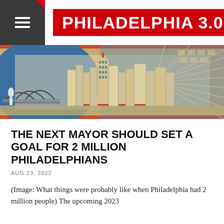PHILADELPHIA 3.0
[Figure (illustration): Vintage city illustration/poster showing a bird's-eye view of Philadelphia with art-deco style buildings, bridges, radiating light beams, in blue, cream, and red tones.]
THE NEXT MAYOR SHOULD SET A GOAL FOR 2 MILLION PHILADELPHIANS
AUG 23, 2022
(Image: What things were probably like when Philadelphia had 2 million people) The upcoming 2023